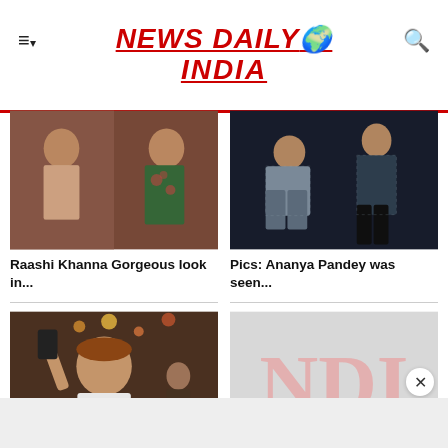NEWS DAILY INDIA
[Figure (photo): Raashi Khanna in fashionable outfit, two poses]
Raashi Khanna Gorgeous look in...
[Figure (photo): Ananya Pandey posing in stylish outfit]
Pics: Ananya Pandey was seen...
[Figure (photo): Nayantara and Vignesh Shivan taking selfie at event]
Photos: Nayantara and Vignesh Shivan...
[Figure (logo): NDI logo placeholder in light pink on grey background]
Zoya Khan Latest Photos in...